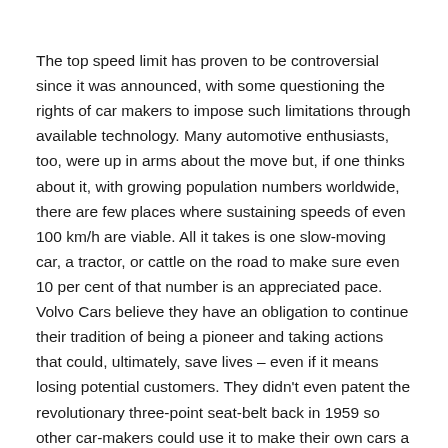The top speed limit has proven to be controversial since it was announced, with some questioning the rights of car makers to impose such limitations through available technology. Many automotive enthusiasts, too, were up in arms about the move but, if one thinks about it, with growing population numbers worldwide, there are few places where sustaining speeds of even 100 km/h are viable. All it takes is one slow-moving car, a tractor, or cattle on the road to make sure even 10 per cent of that number is an appreciated pace. Volvo Cars believe they have an obligation to continue their tradition of being a pioneer and taking actions that could, ultimately, save lives – even if it means losing potential customers. They didn't even patent the revolutionary three-point seat-belt back in 1959 so other car-makers could use it to make their own cars a little safer.
Apart from the speed cap, every new Volvo car will now also